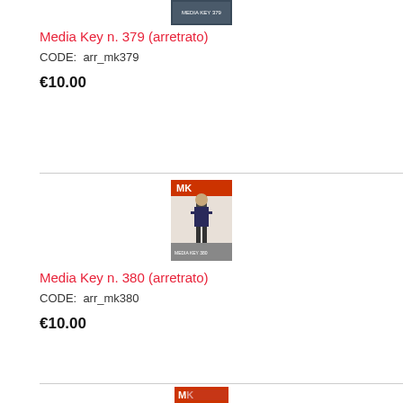[Figure (photo): Partial magazine cover for Media Key n. 379, cropped at top of page]
Media Key n. 379 (arretrato)
CODE:  arr_mk379
€10.00
[Figure (photo): Magazine cover for Media Key n. 380 showing a man in a suit]
Media Key n. 380 (arretrato)
CODE:  arr_mk380
€10.00
[Figure (photo): Partial magazine cover for Media Key n. 381, cropped at bottom of page]